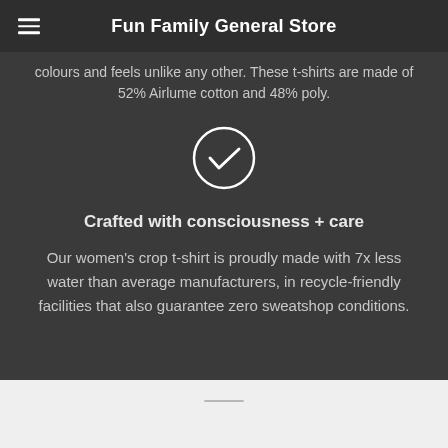Fun Family General Store
colours and feels unlike any other. These t-shirts are made of 52% Airlume cotton and 48% poly.
[Figure (illustration): White checkmark inside a white circle outline on dark background]
Crafted with consciousness + care
Our women's crop t-shirt is proudly made with 7x less water than average manufacturers, in recycle-friendly facilities that also guarantee zero sweatshop conditions.